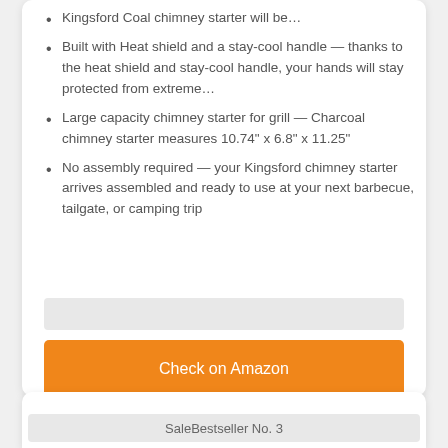Kingsford Coal chimney starter will be…
Built with Heat shield and a stay-cool handle — thanks to the heat shield and stay-cool handle, your hands will stay protected from extreme…
Large capacity chimney starter for grill — Charcoal chimney starter measures 10.74" x 6.8" x 11.25"
No assembly required — your Kingsford chimney starter arrives assembled and ready to use at your next barbecue, tailgate, or camping trip
Check on Amazon
SaleBestseller No. 3